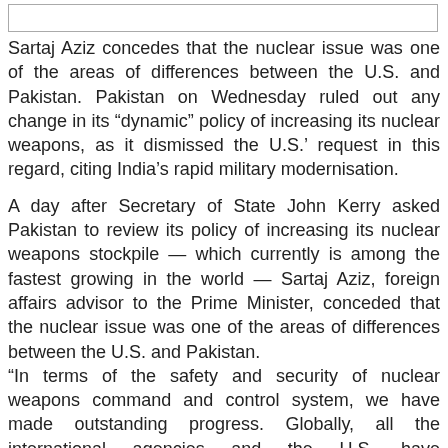[Figure (other): Empty rectangular box at top of page]
Sartaj Aziz concedes that the nuclear issue was one of the areas of differences between the U.S. and Pakistan. Pakistan on Wednesday ruled out any change in its “dynamic” policy of increasing its nuclear weapons, as it dismissed the U.S.’ request in this regard, citing India’s rapid military modernisation.
A day after Secretary of State John Kerry asked Pakistan to review its policy of increasing its nuclear weapons stockpile — which currently is among the fastest growing in the world — Sartaj Aziz, foreign affairs advisor to the Prime Minister, conceded that the nuclear issue was one of the areas of differences between the U.S. and Pakistan. “In terms of the safety and security of nuclear weapons command and control system, we have made outstanding progress. Globally, all the international agencies and the U.S. have acknowledged that Pakistan has developed a very good system for the safety for export control, and command and control system,” Mr. Aziz said during an interaction at the Council on Foreign Relations. “But the [American] concern remains. Our nuclear capacity is